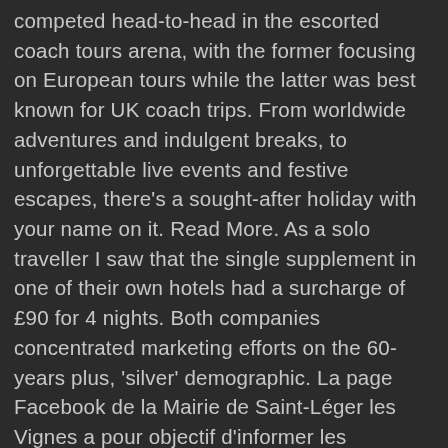competed head-to-head in the escorted coach tours arena, with the former focusing on European tours while the latter was best known for UK coach trips. From worldwide adventures and indulgent breaks, to unforgettable live events and festive escapes, there's a sought-after holiday with your name on it. Read More. As a solo traveller I saw that the single supplement in one of their own hotels had a surcharge of £90 for 4 nights. Both companies concentrated marketing efforts on the 60-years plus, 'silver' demographic. La page Facebook de la Mairie de Saint-Léger les Vignes a pour objectif d'informer les internautes sur l'actualité de la commune. This condensed brochure showcases a selection of our fantastic holidays with up-to-date departure dates and information. SLG blamed the coronavirus COVID-19 ... Escorting 1.5 million satisfied customers for over 35 years. You know your money is secure when you choose us. Leger Holidays Limited and Leger Air Holidays Limited are an appointed representative of ITC Compliance Limited which is authorised and regulated by the Financial Conduct Authority (their registration number is 313486).